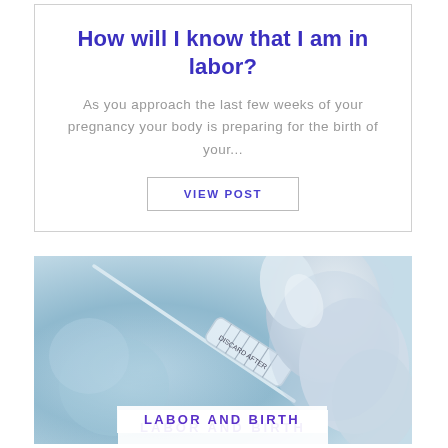How will I know that I am in labor?
As you approach the last few weeks of your pregnancy your body is preparing for the birth of your...
VIEW POST
[Figure (photo): Close-up photo of a gloved hand holding a medical syringe labeled 'DISCARD AFTER' against a blurred blue background]
LABOR AND BIRTH